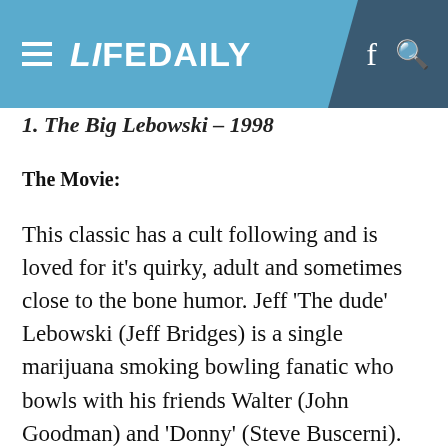LIFEDAILY
1. The Big Lebowski – 1998
The Movie:
This classic has a cult following and is loved for it’s quirky, adult and sometimes close to the bone humor. Jeff ‘The dude’ Lebowski (Jeff Bridges) is a single marijuana smoking bowling fanatic who bowls with his friends Walter (John Goodman) and ‘Donny’ (Steve Buscerni). There are many classic comedy quotes